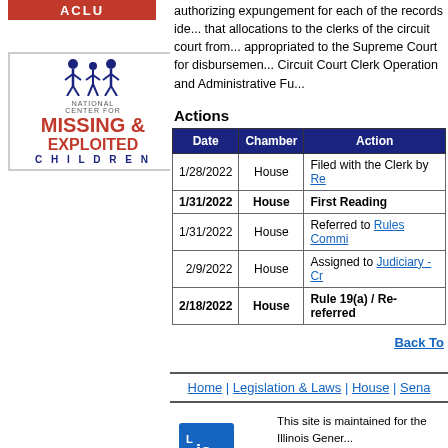[Figure (logo): ACLU red logo (partial, top-left)]
[Figure (logo): National Center for Missing & Exploited Children logo]
authorizing expungement for each of the records identified and providing that allocations to the clerks of the circuit court from the amounts appropriated to the Supreme Court for disbursement from the Circuit Court Clerk Operation and Administrative Fu...
Actions
| Date | Chamber | Action |
| --- | --- | --- |
| 1/28/2022 | House | Filed with the Clerk by Re... |
| 1/31/2022 | House | First Reading |
| 1/31/2022 | House | Referred to Rules Commi... |
| 2/9/2022 | House | Assigned to Judiciary - Cr... |
| 2/18/2022 | House | Rule 19(a) / Re-referred ... |
Back To ...
Home | Legislation & Laws | House | Sena...
[Figure (logo): Legislative Information System logo]
This site is maintained for the Illinois Gener... Legislative Information System, 705 Stratto... 217-782-3944   217-782-2050 (TTY)